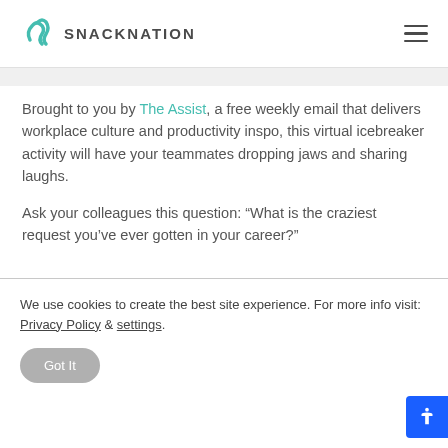SNACKNATION
Brought to you by The Assist, a free weekly email that delivers workplace culture and productivity inspo, this virtual icebreaker activity will have your teammates dropping jaws and sharing laughs.
Ask your colleagues this question: “What is the craziest request you’ve ever gotten in your career?”
We use cookies to create the best site experience. For more info visit: Privacy Policy & settings.